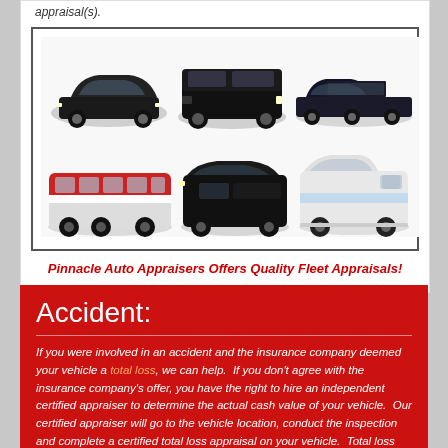appraisal(s).
[Figure (photo): Six vehicles in a grid: top row shows a black sedan, black SUV, and black stretch limousine; bottom row shows a red and white charter bus, a black full-size van, and a white shuttle bus.]
Pinnacle Auto Appraisers Offers Quality Fleet Appraisals!
Accident:
If you were involved in an accident and the insurance company deemed your vehicle a total loss, we can help.  If you don't agree with the insurance company's offer, you have the right to hire an independent certified appraiser to determine the actual cash value of your vehicle.  Our certified appraiser will go to the vehicle location, conduct the inspection and complete a certified total loss appraisal on your vehicle.  Total loss claims do require a